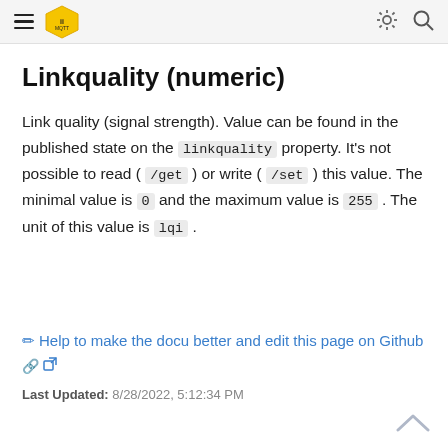≡ [MQTT logo] [sun icon] [search icon]
Linkquality (numeric)
Link quality (signal strength). Value can be found in the published state on the linkquality property. It's not possible to read ( /get ) or write ( /set ) this value. The minimal value is 0 and the maximum value is 255 . The unit of this value is lqi .
✏ Help to make the docu better and edit this page on Github 🔗 ↗
Last Updated: 8/28/2022, 5:12:34 PM